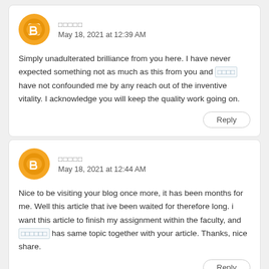□□□□□
May 18, 2021 at 12:39 AM
Simply unadulterated brilliance from you here. I have never expected something not as much as this from you and □□□□ have not confounded me by any reach out of the inventive vitality. I acknowledge you will keep the quality work going on.
Reply
□□□□□
May 18, 2021 at 12:44 AM
Nice to be visiting your blog once more, it has been months for me. Well this article that ive been waited for therefore long. i want this article to finish my assignment within the faculty, and □□□□□□ has same topic together with your article. Thanks, nice share.
Reply